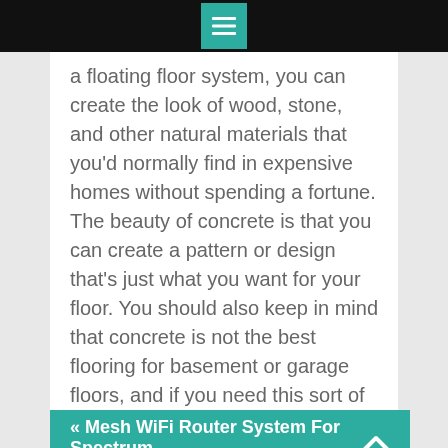a floating floor system, you can create the look of wood, stone, and other natural materials that you'd normally find in expensive homes without spending a fortune. The beauty of concrete is that you can create a pattern or design that's just what you want for your floor. You should also keep in mind that concrete is not the best flooring for basement or garage floors, and if you need this sort of flooring it is important that you get professional advice so that your concrete flooring doesn't crack, scuff, or become damaged.
« Mesh WiFi Router System For Spectrum
Window Tinting in Bolton… »